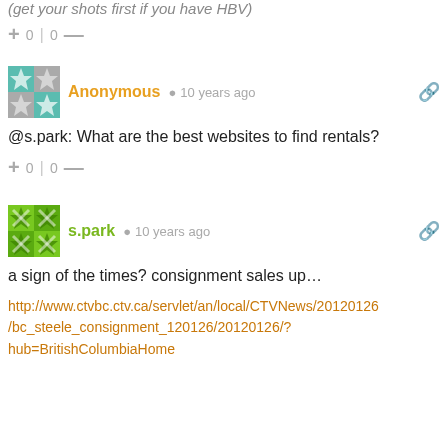(get your shots first if you have HBV)
+ 0 | 0 —
Anonymous · 10 years ago
@s.park: What are the best websites to find rentals?
+ 0 | 0 —
s.park · 10 years ago
a sign of the times? consignment sales up…
http://www.ctvbc.ctv.ca/servlet/an/local/CTVNews/20120126/bc_steele_consignment_120126/20120126/?hub=BritishColumbiaHome